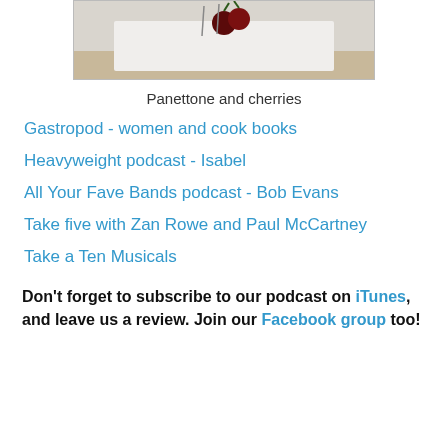[Figure (photo): A photo of panettone and cherries on a white surface]
Panettone and cherries
Gastropod - women and cook books
Heavyweight podcast - Isabel
All Your Fave Bands podcast - Bob Evans
Take five with Zan Rowe and Paul McCartney
Take a Ten Musicals
Don't forget to subscribe to our podcast on iTunes, and leave us a review. Join our Facebook group too!